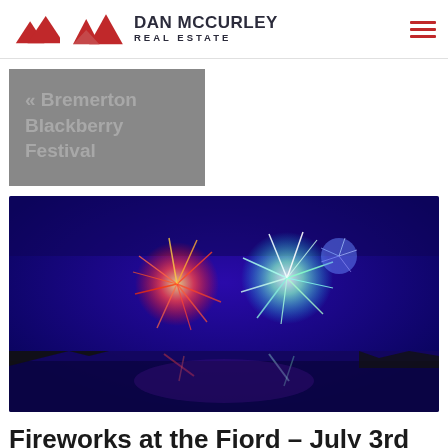Dan McCurley Real Estate
« Bremerton Blackberry Festival
[Figure (photo): Colorful fireworks exploding over a body of water at night against a deep blue sky, with reflections visible on the water surface.]
Fireworks at the Fjord – July 3rd